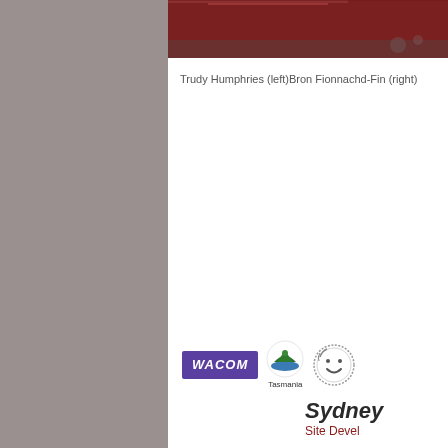[Figure (photo): Partial photo strip at top right showing reddish-brown tiled or paved surface with stones]
Trudy Humphries (left)Bron Fionnachd-Fin (right)
[Figure (logo): Wacom logo (purple rectangle with white italic text), Tasmania logo (green swan/bird icon with Tasmania text), and a circular smiley face logo]
Sydney Site Devel